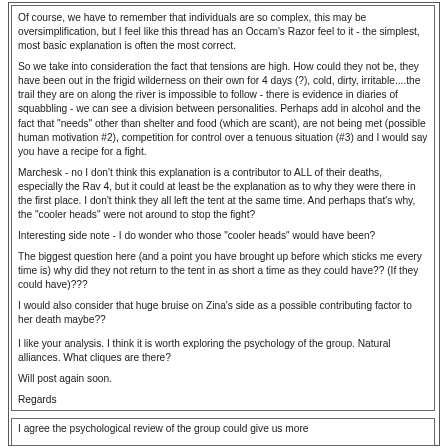Of course, we have to remember that individuals are so complex, this may be oversimplification, but I feel like this thread has an Occam's Razor feel to it - the simplest, most basic explanation is often the most correct.
So we take into consideration the fact that tensions are high. How could they not be, they have been out in the frigid wilderness on their own for 4 days (?), cold, dirty, irritable....the trail they are on along the river is impossible to follow  - there is evidence in diaries of squabbling - we can see a division between personalities. Perhaps add in alcohol and the fact that "needs" other than shelter and food (which are scant),  are not being met (possible human motivation #2), competition for control over a tenuous situation (#3) and I would say you have a recipe for a fight.
Marchesk - no I don't think this explanation is a contributor to ALL of their deaths, especially the Rav 4, but it could at least be the explanation as to why they were there in the first place. I don't think they all left the tent at the same time. And perhaps that's why, the "cooler heads" were not around to stop the fight?
Interesting side note - I do wonder who those "cooler heads" would have been?
The biggest question here (and a point you have brought up before which sticks me every time is) why did they not return to the tent in as short a time as they could have?? (If they could have)???
I would also consider that huge bruise on Zina's side as a possible contributing factor to her death maybe??
I like your analysis.  I think it is worth exploring the psychology of the group.  Natural alliances.  What cliques are there?
Will post again soon.
Regards
Star man
I agree the psychological review of the group could give us more